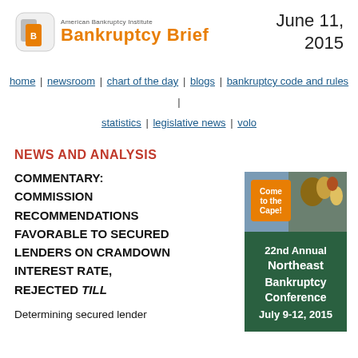[Figure (logo): American Bankruptcy Institute Bankruptcy Brief logo with orange text and icon]
June 11, 2015
home | newsroom | chart of the day | blogs | bankruptcy code and rules | statistics | legislative news | volo
NEWS AND ANALYSIS
COMMENTARY: COMMISSION RECOMMENDATIONS FAVORABLE TO SECURED LENDERS ON CRAMDOWN INTEREST RATE, REJECTED TILL
Determining secured lender
[Figure (illustration): 22nd Annual Northeast Bankruptcy Conference advertisement, July 9-12, 2015, Come to the Cape! Green background with buoys photo]